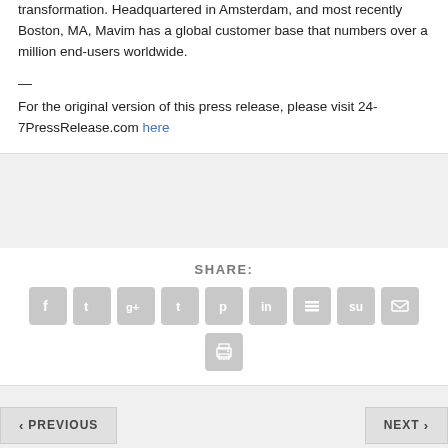transformation. Headquartered in Amsterdam, and most recently Boston, MA, Mavim has a global customer base that numbers over a million end-users worldwide.
—
For the original version of this press release, please visit 24-7PressRelease.com here
SHARE:
[Figure (other): Social sharing icons: Facebook, Twitter, Google+, Tumblr, Pinterest, LinkedIn, Buffer, StumbleUpon, Email, Print]
< PREVIOUS
NEXT >